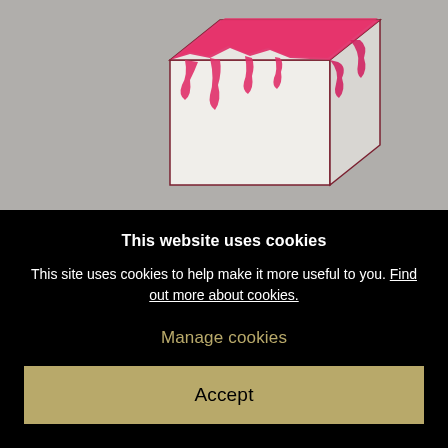[Figure (photo): A white cube-shaped sculpture with pink/magenta paint dripping over its top and sides, displayed against a gray background.]
This website uses cookies
This site uses cookies to help make it more useful to you. Find out more about cookies.
Manage cookies
Accept